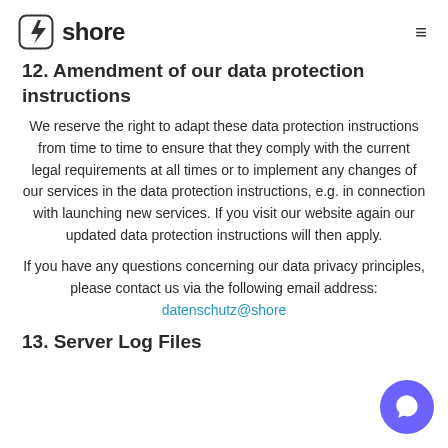shore
12. Amendment of our data protection instructions
We reserve the right to adapt these data protection instructions from time to time to ensure that they comply with the current legal requirements at all times or to implement any changes of our services in the data protection instructions, e.g. in connection with launching new services. If you visit our website again our updated data protection instructions will then apply.
If you have any questions concerning our data privacy principles, please contact us via the following email address: datenschutz@shore
13. Server Log Files